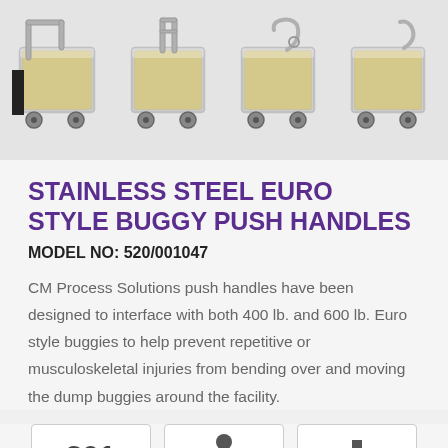[Figure (photo): Four stainless steel Euro style buggy push handles shown from different angles, displayed in a row against a light gray background]
STAINLESS STEEL EURO STYLE BUGGY PUSH HANDLES
MODEL NO: 520/001047
CM Process Solutions push handles have been designed to interface with both 400 lb. and 600 lb. Euro style buggies to help prevent repetitive or musculoskeletal injuries from bending over and moving the dump buggies around the facility.
[Figure (infographic): Three icon boxes at the bottom showing product feature icons - a number 301, a person icon, and a downward arrow icon]